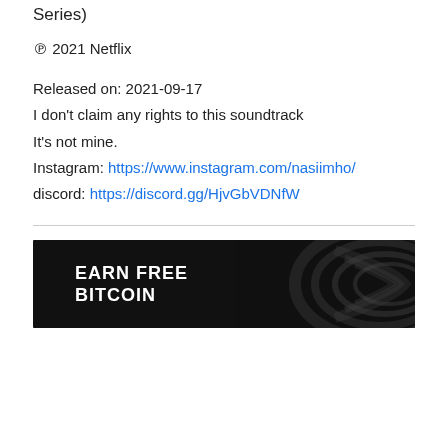Series)
℗ 2021 Netflix
Released on: 2021-09-17
I don't claim any rights to this soundtrack
It's not mine.
Instagram: https://www.instagram.com/nasiimho/
discord: https://discord.gg/HjvGbVDNfW
[Figure (infographic): Dark advertisement banner with text 'EARN FREE BITCOIN' in bold white uppercase letters on a black background with decorative swirl patterns on the right side.]